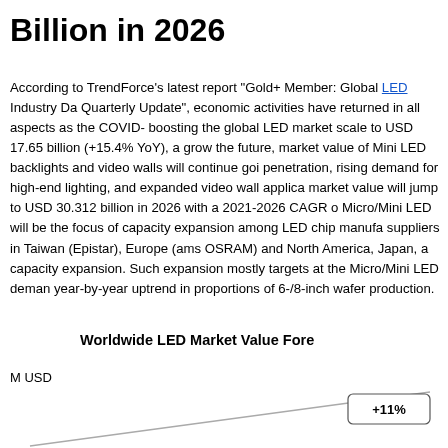Billion in 2026
According to TrendForce's latest report "Gold+ Member: Global LED Industry Da Quarterly Update", economic activities have returned in all aspects as the COVID- boosting the global LED market scale to USD 17.65 billion (+15.4% YoY), a grow the future, market value of Mini LED backlights and video walls will continue goi penetration, rising demand for high-end lighting, and expanded video wall applica market value will jump to USD 30.312 billion in 2026 with a 2021-2026 CAGR o Micro/Mini LED will be the focus of capacity expansion among LED chip manufa suppliers in Taiwan (Epistar), Europe (ams OSRAM) and North America, Japan, a capacity expansion. Such expansion mostly targets at the Micro/Mini LED deman year-by-year uptrend in proportions of 6-/8-inch wafer production.
[Figure (line-chart): Worldwide LED Market Value Forecast chart showing an upward trend line with a +11% annotation label visible in the upper right area of the chart.]